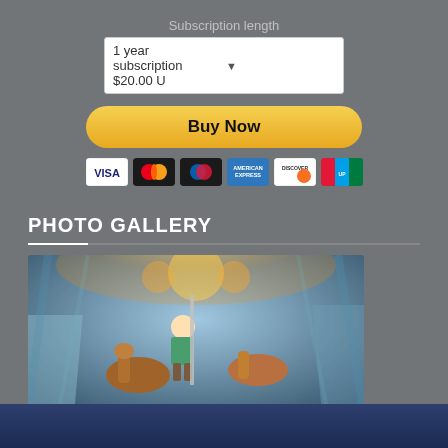Subscription length
1 year subscription $20.00 U ▾
[Figure (screenshot): Yellow 'Buy Now' PayPal button]
[Figure (illustration): Payment method icons: VISA, Mastercard, Diners Club, American Express, Discover, UnionPay]
PHOTO GALLERY
[Figure (photo): Child riding a carousel horse at a colorful amusement ride, motion blur in background]
Click here to find your favorite Texas Catholic photographs.